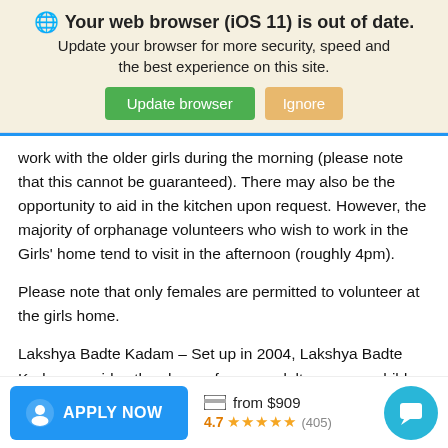[Figure (screenshot): Browser update banner with globe icon, bold title 'Your web browser (iOS 11) is out of date.', subtitle text, and two buttons: 'Update browser' (green) and 'Ignore' (orange/tan)]
work with the older girls during the morning (please note that this cannot be guaranteed). There may also be the opportunity to aid in the kitchen upon request. However, the majority of orphanage volunteers who wish to work in the Girls' home tend to visit in the afternoon (roughly 4pm).
Please note that only females are permitted to volunteer at the girls home.
Lakshya Badte Kadam – Set up in 2004, Lakshya Badte Kadam provides the chance for now adult run-away children to give
[Figure (screenshot): Bottom action bar with blue 'APPLY NOW' button with person icon, credit card icon with 'from $909', and star rating '4.7 ★★★★★ (405)', plus teal chat bubble button on right]